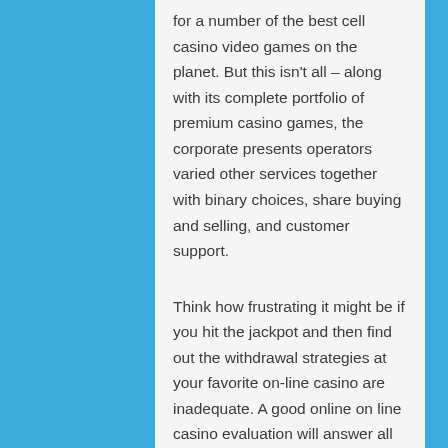for a number of the best cell casino video games on the planet. But this isn't all – along with its complete portfolio of premium casino games, the corporate presents operators varied other services together with binary choices, share buying and selling, and customer support.
Think how frustrating it might be if you hit the jackpot and then find out the withdrawal strategies at your favorite on-line casino are inadequate. A good online on line casino evaluation will answer all these questions and more. Ours go above and beyond what you'll find at different on-line on line casino evaluate websites as they are written by gamers, for avid gamers, prioritising enjoyable and